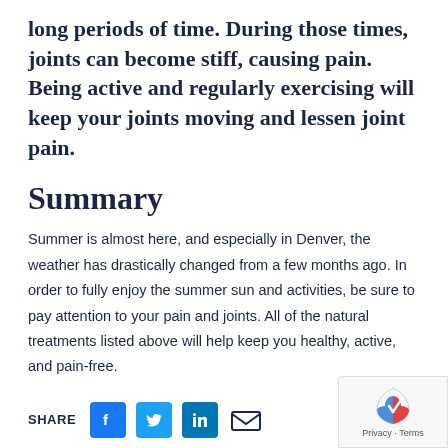long periods of time. During those times, joints can become stiff, causing pain. Being active and regularly exercising will keep your joints moving and lessen joint pain.
Summary
Summer is almost here, and especially in Denver, the weather has drastically changed from a few months ago. In order to fully enjoy the summer sun and activities, be sure to pay attention to your pain and joints. All of the natural treatments listed above will help keep you healthy, active, and pain-free.
SHARE